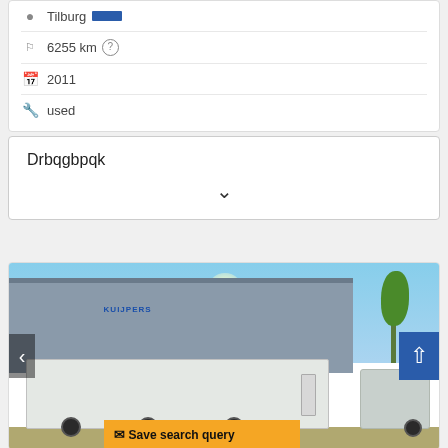Tilburg [blue bar]
6255 km ?
2011
used
Drbqgbpqk
[Figure (photo): Photo of a white delivery truck with box body in front of a grey industrial building with KUIJPERS logo, blue sky and tree in background. Navigation arrows on left and right side of image. Save search query button at bottom.]
Save search query